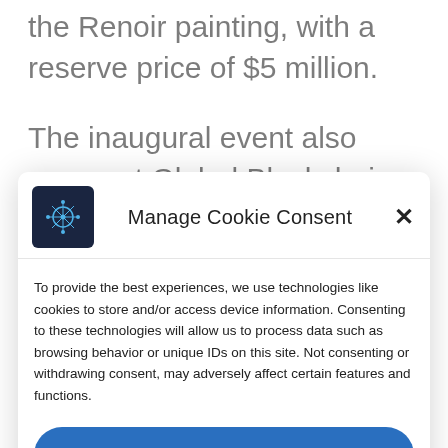the Renoir painting, with a reserve price of $5 million.
The inaugural event also gave out Global Blockchain Visionary Awards, and the first recipient is His Excellency Adnan Al Noorani, the Founder of the Future Innovation Summit. He is also the Chairman of the Board of the Princ…
Manage Cookie Consent
To provide the best experiences, we use technologies like cookies to store and/or access device information. Consenting to these technologies will allow us to process data such as browsing behavior or unique IDs on this site. Not consenting or withdrawing consent, may adversely affect certain features and functions.
Accept